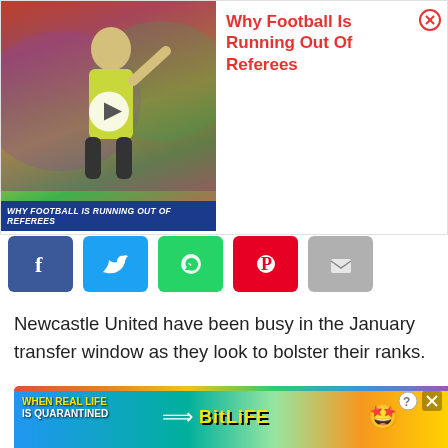[Figure (screenshot): Video thumbnail showing a football referee in yellow jacket raising his arm, with text overlay 'WHY FOOTBALL IS RUNNING OUT OF REFEREES' on a blue bar. Panel shows title 'Why Football Is Running Out Of Referees' in red text with a close X button.]
[Figure (screenshot): Social media share buttons: Facebook (blue f), Twitter (blue bird), WhatsApp (green phone), Pinterest (red P), Email (grey envelope)]
Newcastle United have been busy in the January transfer window as they look to bolster their ranks.
[Figure (screenshot): Advertisement placeholder box with 'Ad' label, a dark bell notification button overlay, and a red wavy line with red X close button.]
[Figure (screenshot): Bottom banner ad: BitLife game ad with rainbow stripe, text 'WHEN REAL LIFE IS QUARANTINED', BitLife logo, star-eyes emoji, and close/help buttons.]